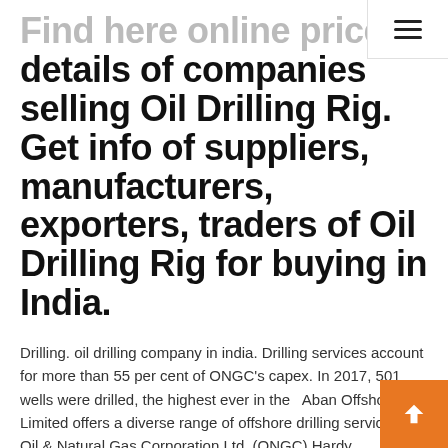≡ (hamburger menu icon)
Find here online price details of companies selling Oil Drilling Rig. Get info of suppliers, manufacturers, exporters, traders of Oil Drilling Rig for buying in India.
Drilling. oil drilling company in india. Drilling services account for more than 55 per cent of ONGC's capex. In 2017, 501 wells were drilled, the highest ever in the   Aban Offshore Limited offers a diverse range of offshore drilling services to Oil & Natural Gas Corporation Ltd. (ONGC),Hardy Exploration & Production (India). One billion barrels of oil for India, helping the economy grow and the Thar We are an innovative and enterpreneurial